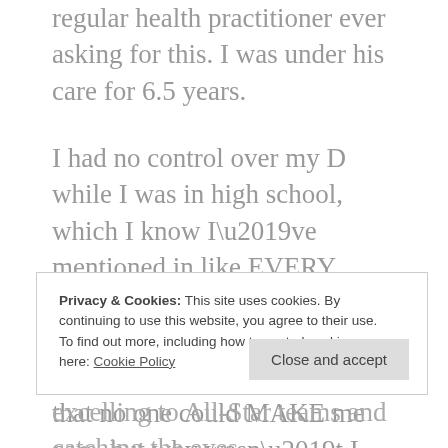regular health practitioner ever asking for this. I was under his care for 6.5 years.
I had no control over my D while I was in high school, which I know I’ve mentioned in like EVERY paragraph so far. I’m just upset that I wasn’t influenced to care more. I know that no one could MAKE me care, but why wasn’t I manipulated into caring? Basic psychology says it should have worked. Here are my thoughts on how this could have been successful.
Privacy & Cookies: This site uses cookies. By continuing to use this website, you agree to their use.
To find out more, including how to control cookies, see here: Cookie Policy
excelling to All-Star teams and catching the eyes